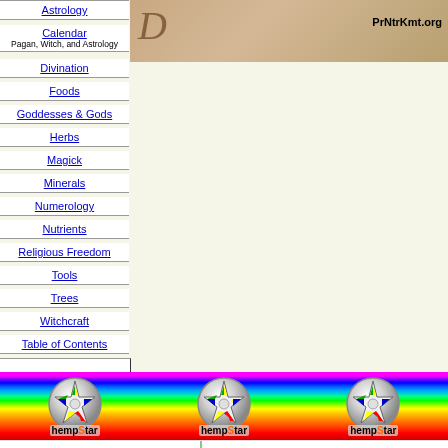[Figure (screenshot): Website header image with logo text and PrNtrKmt.org URL on brown/tan textured background]
Astrology
Calendar
Pagan, Witch, and Astrology
Divination
Foods
Goddesses & Gods
Herbs
Magick
Minerals
Numerology
Nutrients
Religious Freedom
Tools
Trees
Witchcraft
Table of Contents
[Figure (illustration): Rainbow colored horizontal banner with three hempStar logos (star-shaped emblems with hemp star design)]
witch stores
organ herb